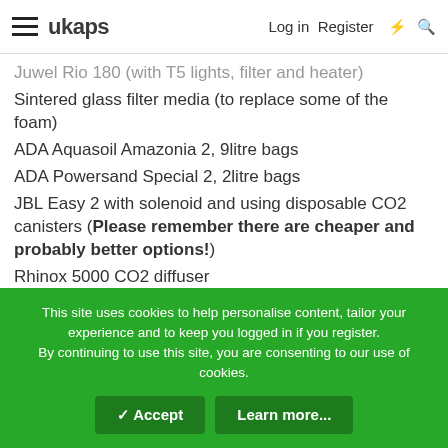ukaps Log in Register ⚡ 🔍
Juwel Rio 180 (with T5 lights, filter and heater)
Sintered glass filter media (to replace some of the foam)
ADA Aquasoil Amazonia 2, 9litre bags
ADA Powersand Special 2, 2litre bags
JBL Easy 2 with solenoid and using disposable CO2 canisters (Please remember there are cheaper and probably better options!)
Rhinox 5000 CO2 diffuser
Hydor Koralia 1 pump or extra External filter with media
Dry fertilisers or Tropica's Plant Nutrition +
6 plug, switchable extension lead
3 plug-in timers (one for the light unit, one for the CO2
This site uses cookies to help personalise content, tailor your experience and to keep you logged in if you register.
By continuing to use this site, you are consenting to our use of cookies.